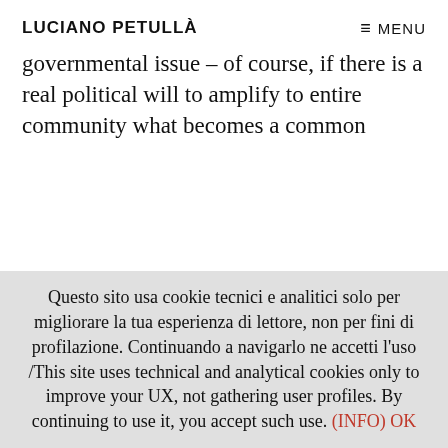LUCIANO PETULLÀ  ≡ MENU
governmental issue – of course, if there is a real political will to amplify to entire community what becomes a common
Questo sito usa cookie tecnici e analitici solo per migliorare la tua esperienza di lettore, non per fini di profilazione. Continuando a navigarlo ne accetti l'uso /This site uses technical and analytical cookies only to improve your UX, not gathering user profiles. By continuing to use it, you accept such use. (INFO) OK